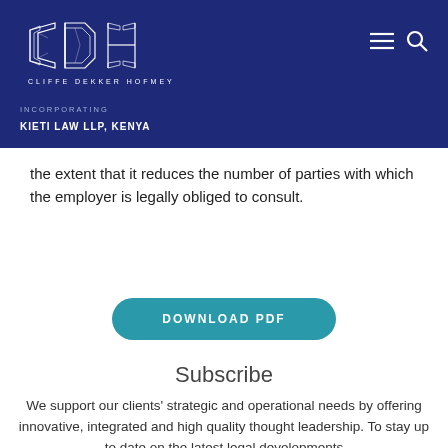[Figure (logo): CDH Cliffe Dekker Hofmeyr logo with geometric crystal design, white on dark blue background, with 'INCORPORATING KIETI LAW LLP, KENYA' beneath]
the extent that it reduces the number of parties with which the employer is legally obliged to consult.
DOWNLOAD PDF
Subscribe
We support our clients' strategic and operational needs by offering innovative, integrated and high quality thought leadership. To stay up to date on the latest legal developments